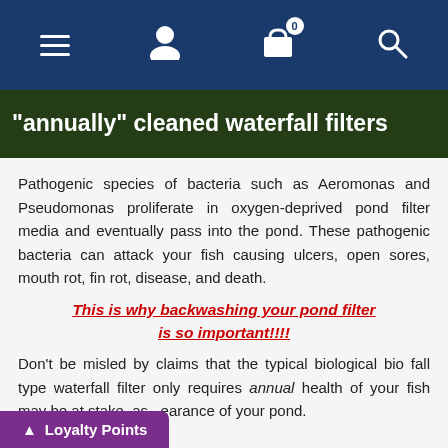Navigation bar with menu, user, cart (0), and search icons
[Figure (photo): Hero banner image with text: “annually” cleaned waterfall filters overlaid on a green plant background]
Pathogenic species of bacteria such as Aeromonas and Pseudomonas proliferate in oxygen-deprived pond filter media and eventually pass into the pond. These pathogenic bacteria can attack your fish causing ulcers, open sores, mouth rot, fin rot, disease, and death.
This is why backwashing your pond filter is so important!!!!
Don’t be misled by claims that the typical biological bio fall type waterfall filter only requires annual health of your fish may be at stake, as pearance of your pond.